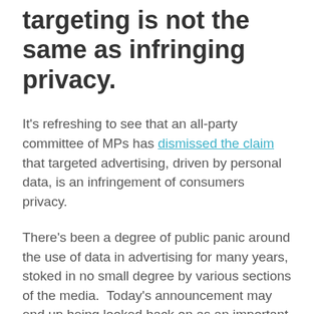targeting is not the same as infringing privacy.
It's refreshing to see that an all-party committee of MPs has dismissed the claim that targeted advertising, driven by personal data, is an infringement of consumers privacy.
There's been a degree of public panic around the use of data in advertising for many years, stoked in no small degree by various sections of the media.  Today's announcement may end up being looked back on as an important watershed moment for the digital industry in the UK.  To have policy-makers join in the effort to remove the shroud of suspicion and